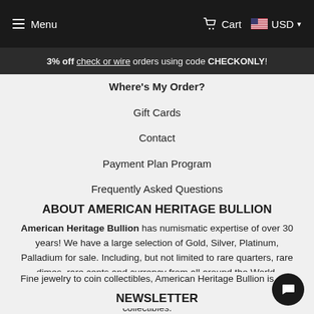Menu   Cart   USD
3% off check or wire orders using code CHECKONLY!
Where's My Order?
Gift Cards
Contact
Payment Plan Program
Frequently Asked Questions
ABOUT AMERICAN HERITAGE BULLION
American Heritage Bullion has numismatic expertise of over 30 years! We have a large selection of Gold, Silver, Platinum, Palladium for sale. Including, but not limited to rare quarters, rare dimes, rare cents and currency from all around the World.
Fine jewelry to coin collectibles, American Heritage Bullion is your first stop to finding the best deals and most unique collectibles.
NEWSLETTER